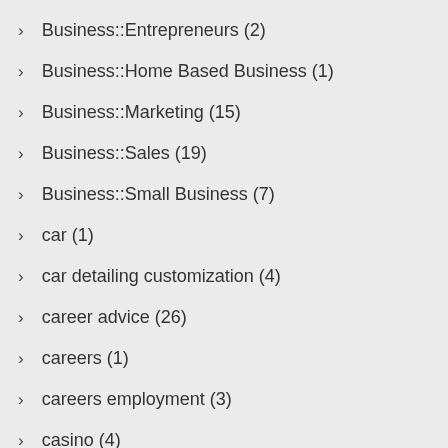Business::Entrepreneurs (2)
Business::Home Based Business (1)
Business::Marketing (15)
Business::Sales (19)
Business::Small Business (7)
car (1)
car detailing customization (4)
career advice (26)
careers (1)
careers employment (3)
casino (4)
casino gambling (111)
classic cars (1)